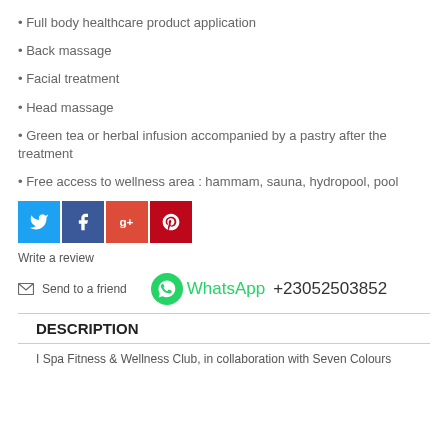• Full body healthcare product application
• Back massage
• Facial treatment
• Head massage
• Green tea or herbal infusion accompanied by a pastry after the treatment
• Free access to wellness area : hammam, sauna, hydropool, pool
[Figure (infographic): Social media share buttons: Twitter (blue), Facebook (dark blue), Google+ (orange-red), Pinterest (red)]
Write a review
Send to a friend  WhatsApp +23052503852
DESCRIPTION
I Spa Fitness & Wellness Club, in collaboration with Seven Colours